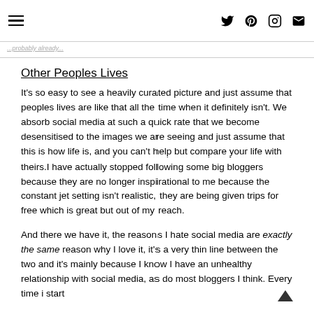[hamburger menu icon] [twitter icon] [pinterest icon] [instagram icon] [email icon]
Other Peoples Lives
It's so easy to see a heavily curated picture and just assume that peoples lives are like that all the time when it definitely isn't. We absorb social media at such a quick rate that we become desensitised to the images we are seeing and just assume that this is how life is, and you can't help but compare your life with theirs.I have actually stopped following some big bloggers because they are no longer inspirational to me because the constant jet setting isn't realistic, they are being given trips for free which is great but out of my reach.
And there we have it, the reasons I hate social media are exactly the same reason why I love it, it's a very thin line between the two and it's mainly because I know I have an unhealthy relationship with social media, as do most bloggers I think. Every time i start